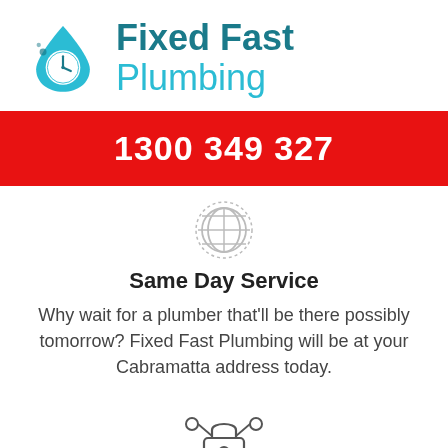[Figure (logo): Fixed Fast Plumbing logo with water drop icon containing a clock]
1300 349 327
[Figure (illustration): Globe/world icon with dotted circular border]
Same Day Service
Why wait for a plumber that'll be there possibly tomorrow? Fixed Fast Plumbing will be at your Cabramatta address today.
[Figure (illustration): Padlock security icon with connection nodes]